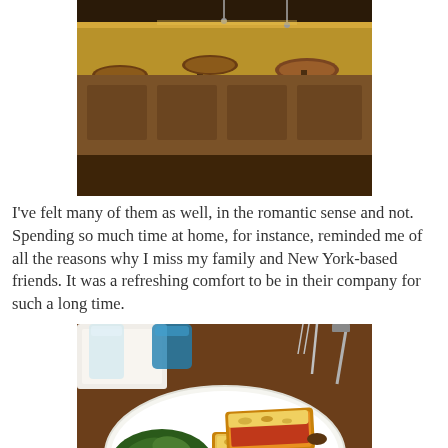[Figure (photo): Interior of a bar or restaurant showing bar stools and a counter, warm brown tones]
I've felt many of them as well, in the romantic sense and not. Spending so much time at home, for instance, reminded me of all the reasons why I miss my family and New York-based friends. It was a refreshing comfort to be in their company for such a long time.
[Figure (photo): A plate of food on a restaurant table showing a toasted sandwich or croque monsieur with melted cheese alongside a green salad, with glasses and cutlery visible]